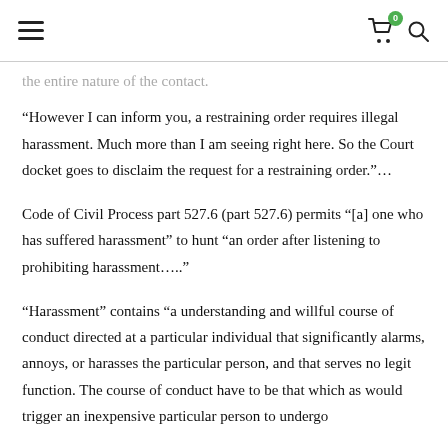≡  [cart icon with badge 0]  [search icon]
the entire nature of the contact.
“However I can inform you, a restraining order requires illegal harassment. Much more than I am seeing right here. So the Court docket goes to disclaim the request for a restraining order.”…
Code of Civil Process part 527.6 (part 527.6) permits “[a] one who has suffered harassment” to hunt “an order after listening to prohibiting harassment….”
“Harassment” contains “a understanding and willful course of conduct directed at a particular individual that significantly alarms, annoys, or harasses the particular person, and that serves no legit function. The course of conduct have to be that which as would trigger an inexpensive particular person to undergo